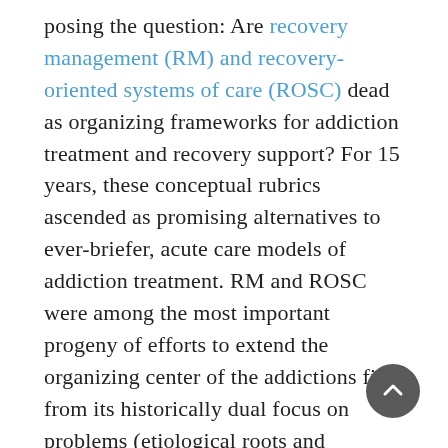posing the question: Are recovery management (RM) and recovery-oriented systems of care (ROSC) dead as organizing frameworks for addiction treatment and recovery support? For 15 years, these conceptual rubrics ascended as promising alternatives to ever-briefer, acute care models of addiction treatment. RM and ROSC were among the most important progeny of efforts to extend the organizing center of the addictions field from its historically dual focus on problems (etiological roots and resulting clinical pathologies) and interventions (competing methods of treatment) to a focus on lived solutions (i.e., lessons